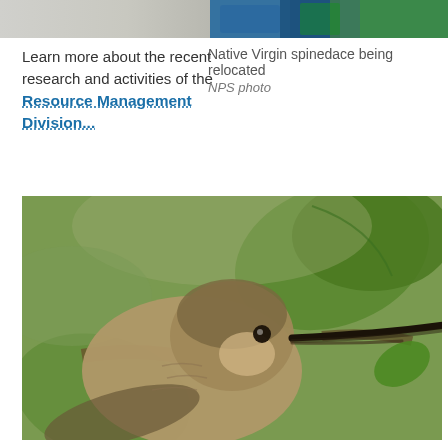[Figure (photo): Partial view of a fish being held, Native Virgin spinedace being relocated]
Learn more about the recent research and activities of the Resource Management Division...
Native Virgin spinedace being relocated
NPS photo
[Figure (photo): Close-up photograph of a hummingbird with a long beak, surrounded by green leaves]